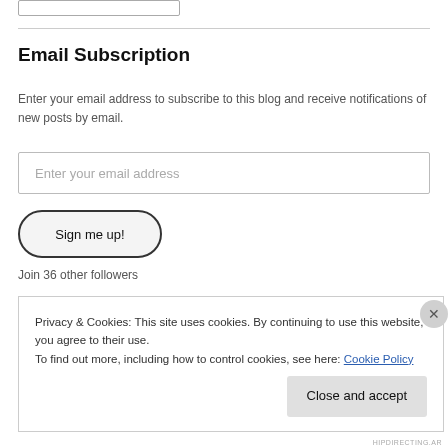Email Subscription
Enter your email address to subscribe to this blog and receive notifications of new posts by email.
Enter your email address
Sign me up!
Join 36 other followers
Privacy & Cookies: This site uses cookies. By continuing to use this website, you agree to their use.
To find out more, including how to control cookies, see here: Cookie Policy
Close and accept